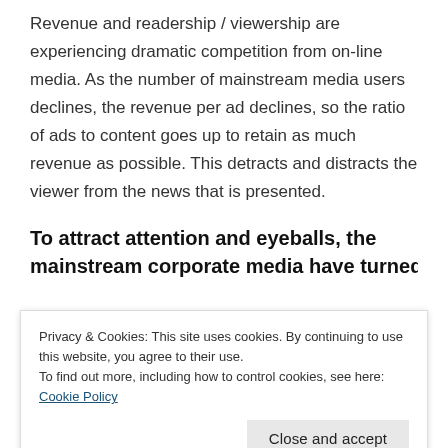Revenue and readership / viewership are experiencing dramatic competition from on-line media. As the number of mainstream media users declines, the revenue per ad declines, so the ratio of ads to content goes up to retain as much revenue as possible. This detracts and distracts the viewer from the news that is presented.
To attract attention and eyeballs, the mainstream corporate media have turned
Privacy & Cookies: This site uses cookies. By continuing to use this website, you agree to their use.
To find out more, including how to control cookies, see here:
Cookie Policy
too true of the mainstream media. Crime